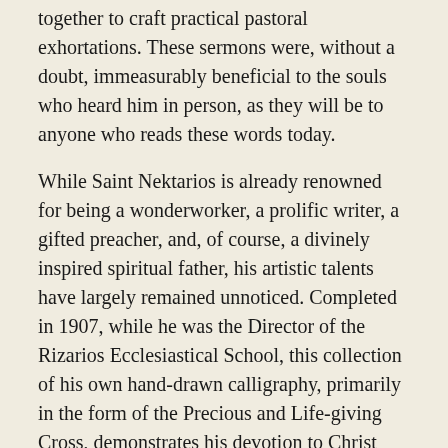together to craft practical pastoral exhortations. These sermons were, without a doubt, immeasurably beneficial to the souls who heard him in person, as they will be to anyone who reads these words today.
While Saint Nektarios is already renowned for being a wonderworker, a prolific writer, a gifted preacher, and, of course, a divinely inspired spiritual father, his artistic talents have largely remained unnoticed. Completed in 1907, while he was the Director of the Rizarios Ecclesiastical School, this collection of his own hand-drawn calligraphy, primarily in the form of the Precious and Life-giving Cross, demonstrates his devotion to Christ and his Holy Cross by means of the graphic arts. Here we are given a rare glimpse into something which gave repose and joy to the saint when he was not preoccupied with his many other duties. English translations accompany each hand-drawn piece so that, for the first time, an exceedingly broad audience can enjoy and be spiritually edified by the fruit of the saint's